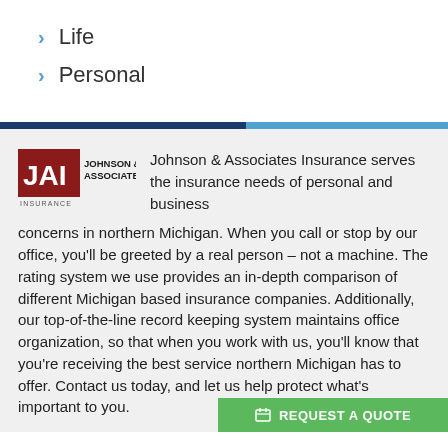Life
Personal
[Figure (logo): Johnson & Associates Insurance logo — red square with JAI letters and company name]
Johnson & Associates Insurance serves the insurance needs of personal and business concerns in northern Michigan. When you call or stop by our office, you'll be greeted by a real person – not a machine. The rating system we use provides an in-depth comparison of different Michigan based insurance companies. Additionally, our top-of-the-line record keeping system maintains office organization, so that when you work with us, you'll know that you're receiving the best service northern Michigan has to offer. Contact us today, and let us help protect what's important to you.
REQUEST A QUOTE